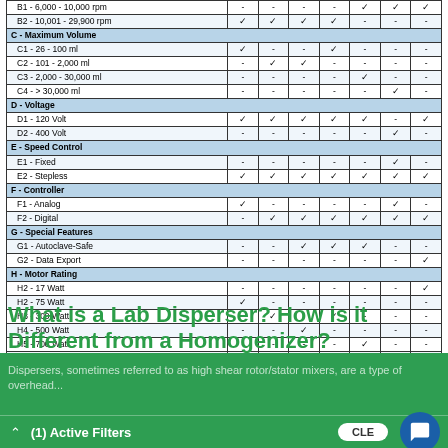|  | Col1 | Col2 | Col3 | Col4 | Col5 | Col6 | Col7 |
| --- | --- | --- | --- | --- | --- | --- | --- |
| B1 - 6,000 - 10,000 rpm | - | - | - | - | ✓ | ✓ | ✓ |
| B2 - 10,001 - 29,900 rpm | ✓ | ✓ | ✓ | ✓ | - | - | - |
| C - Maximum Volume |  |  |  |  |  |  |  |
| C1 - 26 - 100 ml | ✓ | - | - | ✓ | - | - | - |
| C2 - 101 - 2,000 ml | - | ✓ | ✓ | - | - | - | - |
| C3 - 2,000 - 30,000 ml | - | - | - | - | ✓ | - | - |
| C4 - > 30,000 ml | - | - | - | - | - | ✓ | - |
| D - Voltage |  |  |  |  |  |  |  |
| D1 - 120 Volt | ✓ | ✓ | ✓ | ✓ | ✓ | - | ✓ |
| D2 - 400 Volt | - | - | - | - | - | ✓ | - |
| E - Speed Control |  |  |  |  |  |  |  |
| E1 - Fixed | - | - | - | - | - | ✓ | - |
| E2 - Stepless | ✓ | ✓ | ✓ | ✓ | ✓ | ✓ | ✓ |
| F - Controller |  |  |  |  |  |  |  |
| F1 - Analog | ✓ | - | - | - | - | ✓ | - |
| F2 - Digital | - | ✓ | ✓ | ✓ | ✓ | ✓ | ✓ |
| G - Special Features |  |  |  |  |  |  |  |
| G1 - Autoclave-Safe | - | - | ✓ | ✓ | ✓ | - | - |
| G2 - Data Export | - | - | - | - | - | - | ✓ |
| H - Motor Rating |  |  |  |  |  |  |  |
| H2 - 17 Watt | - | - | - | - | - | - | ✓ |
| H2 - 75 Watt | ✓ | - | - | - | - | - | - |
| H3 - 300 Watt | - | ✓ | - | ✓ | - | - | - |
| H4 - 500 Watt | - | - | ✓ | - | - | - | - |
| H5 - 700 Watt | - | - | - | - | ✓ | - | - |
| H6 - 1,500 Watt | - | - | - | - | - | ✓ | - |
| H7 - 2,200 Watt | - | - | - | - | ✓ | - | - |
What is a Lab Disperser? How is it Different from a Homogenizer?
Dispersers, sometimes referred to as high shear rotor/stator mixers, are a type of overhead...